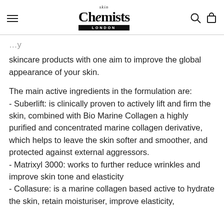skin Chemists LONDON
skincare products with one aim to improve the global appearance of your skin.
The main active ingredients in the formulation are:
- Suberlift: is clinically proven to actively lift and firm the skin, combined with Bio Marine Collagen a highly purified and concentrated marine collagen derivative, which helps to leave the skin softer and smoother, and protected against external aggressors.
- Matrixyl 3000: works to further reduce wrinkles and improve skin tone and elasticity
- Collasure: is a marine collagen based active to hydrate the skin, retain moisturiser, improve elasticity,